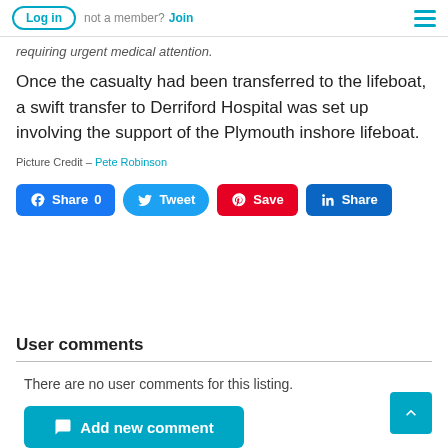Log in | not a member? Join
requiring urgent medical attention.
Once the casualty had been transferred to the lifeboat, a swift transfer to Derriford Hospital was set up involving the support of the Plymouth inshore lifeboat.
Picture Credit – Pete Robinson
[Figure (infographic): Social share buttons: Facebook Share 0, Tweet, Pinterest Save, LinkedIn Share]
User comments
There are no user comments for this listing.
Add new comment